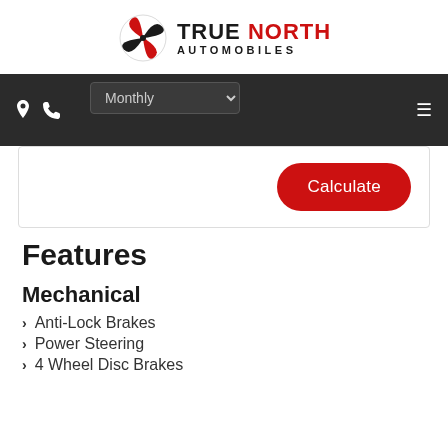[Figure (logo): True North Automobiles logo with pinwheel icon, 'TRUE' in black bold, 'NORTH' in red bold, 'AUTOMOBILES' in black small caps below]
[Figure (screenshot): Dark navigation bar with location pin icon, phone icon, a 'Monthly' dropdown selector, and a hamburger menu icon on the right]
[Figure (screenshot): White card area with a red rounded 'Calculate' button on the right side]
Features
Mechanical
Anti-Lock Brakes
Power Steering
4 Wheel Disc Brakes